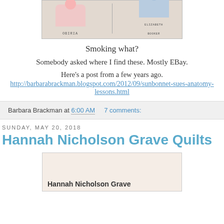[Figure (photo): Two cartoon/illustration figures with labels OBIRIA and ELIZABETH BOOKER on a light background]
Smoking what?
Somebody asked where I find these. Mostly EBay.
Here's a post from a few years ago.
http://barbarabrackman.blogspot.com/2012/09/sunbonnet-sues-anatomy-lessons.html
Barbara Brackman at 6:00 AM   7 comments:
Sunday, May 20, 2018
Hannah Nicholson Grave Quilts
[Figure (photo): Image showing Hannah Nicholson Grave quilt, partially visible at bottom of page]